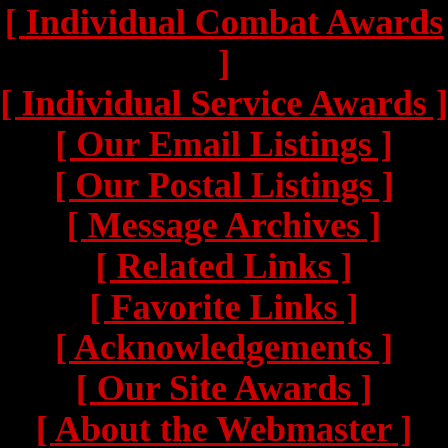[ Individual Combat Awards ]
[ Individual Service Awards ]
[ Our Email Listings ]
[ Our Postal Listings ]
[ Message Archives ]
[ Related Links ]
[ Favorite Links ]
[ Acknowledgements ]
[ Our Site Awards ]
[ About the Webmaster ]
[ Sign Our New Guestbook ]
[ View Our New Guestbook ]